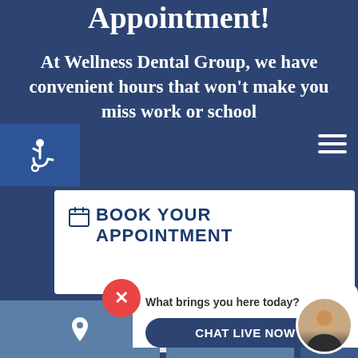Appointment!
At Wellness Dental Group, we have convenient hours that won't make you miss work or school
BOOK YOUR APPOINTMENT
What brings you here today?
CHAT LIVE NOW
[Figure (screenshot): Accessibility wheelchair icon on blue background, hamburger menu icon top right, location pin map box at bottom, partial form input bar, close button (X) in red circle, chat widget with agent avatar]